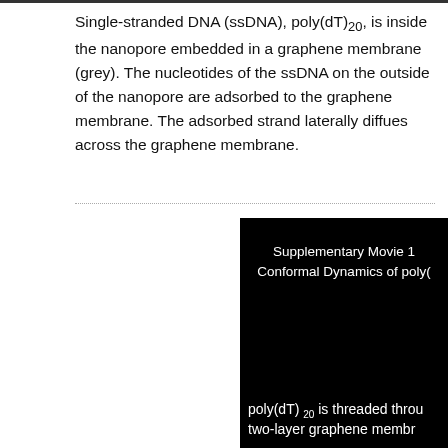Single-stranded DNA (ssDNA), poly(dT)20, is inside the nanopore embedded in a graphene membrane (grey). The nucleotides of the ssDNA on the outside of the nanopore are adsorbed to the graphene membrane. The adsorbed strand laterally diffues across the graphene membrane.
[Figure (screenshot): Black background video frame showing 'Supplementary Movie 1 Conformal Dynamics of poly(dT)20' as title text, and lower text reading 'poly(dT)20 is threaded through a two-layer graphene membrane']